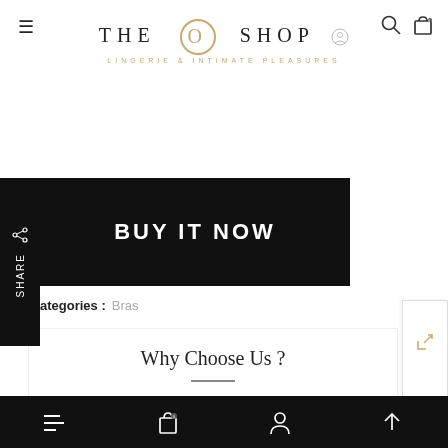THE O SHOP — LINGERIE & INTIMATE PLEASURES
BUY IT NOW
SHARE
Categories : Bras
Why Choose Us ?
Experience, quality, and a commitment to customer satisfaction. The O Shop believes in developing relationships with our customers, ensuring they come back again and again!
Bottom navigation bar with menu, cart, account, and scroll-up icons